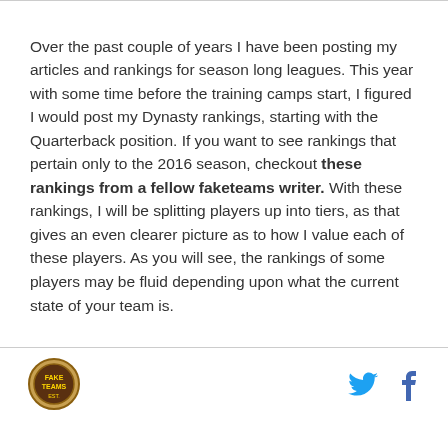Over the past couple of years I have been posting my articles and rankings for season long leagues. This year with some time before the training camps start, I figured I would post my Dynasty rankings, starting with the Quarterback position. If you want to see rankings that pertain only to the 2016 season, checkout these rankings from a fellow faketeams writer. With these rankings, I will be splitting players up into tiers, as that gives an even clearer picture as to how I value each of these players. As you will see, the rankings of some players may be fluid depending upon what the current state of your team is.
[logo] [twitter icon] [facebook icon]